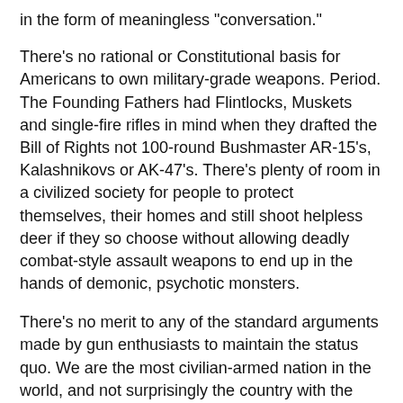in the form of meaningless "conversation."
There's no rational or Constitutional basis for Americans to own military-grade weapons. Period. The Founding Fathers had Flintlocks, Muskets and single-fire rifles in mind when they drafted the Bill of Rights not 100-round Bushmaster AR-15's, Kalashnikovs or AK-47's. There's plenty of room in a civilized society for people to protect themselves, their homes and still shoot helpless deer if they so choose without allowing deadly combat-style assault weapons to end up in the hands of demonic, psychotic monsters.
There's no merit to any of the standard arguments made by gun enthusiasts to maintain the status quo. We are the most civilian-armed nation in the world, and not surprisingly the country with the most gun-related deaths as a result. We don't need more guns.  And if the shooter had a knife instead of a Bushmaster--as gun enthusiasts argue would happen if there were no guns--most of the twenty-seven Newtown victims would still be alive. What's more, increasing background checks won't really make a dent either considering that 75% of mass-murders in the United States